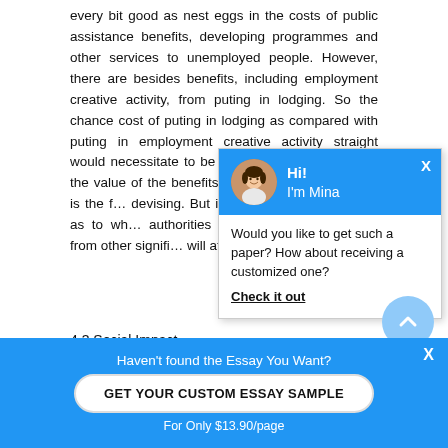every bit good as nest eggs in the costs of public assistance benefits, developing programmes and other services to unemployed people. However, there are besides benefits, including employment creative activity, from puting in lodging. So the chance cost of puting in lodging as compared with puting in employment creative activity straight would necessitate to be estimated by mensurating the value of the benefits of each i... private sector is the f... devising. But in the pop... determination as to wh... authorities demands to d... different from other signifi... will affect the societal imp...
[Figure (screenshot): Chat popup with avatar of Mina, greeting 'Hi! I'm Mina', and message 'Would you like to get such a paper? How about receiving a customized one? Check it out']
4.3 Social Impact
Government intercession in the signifier of societal...
[Figure (screenshot): Bottom banner: Haven't found the Essay You Want? GET YOUR CUSTOM ESSAY SAMPLE. For Only $13.90/page]
[Figure (screenshot): Scroll-up circular button (light blue) and message circular button (blue)]